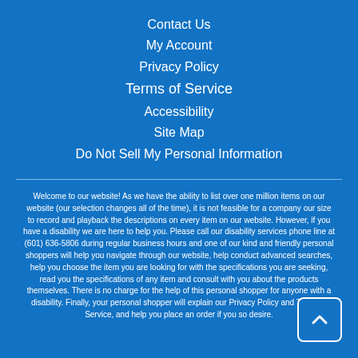Contact Us
My Account
Privacy Policy
Terms of Service
Accessibility
Site Map
Do Not Sell My Personal Information
Welcome to our website! As we have the ability to list over one million items on our website (our selection changes all of the time), it is not feasible for a company our size to record and playback the descriptions on every item on our website. However, if you have a disability we are here to help you. Please call our disability services phone line at (601) 636-5806 during regular business hours and one of our kind and friendly personal shoppers will help you navigate through our website, help conduct advanced searches, help you choose the item you are looking for with the specifications you are seeking, read you the specifications of any item and consult with you about the products themselves. There is no charge for the help of this personal shopper for anyone with a disability. Finally, your personal shopper will explain our Privacy Policy and Terms of Service, and help you place an order if you so desire.